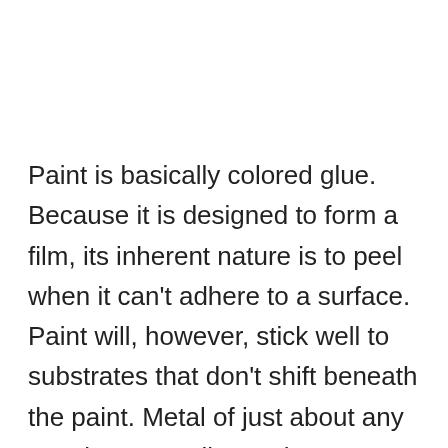Paint is basically colored glue. Because it is designed to form a film, its inherent nature is to peel when it can't adhere to a surface. Paint will, however, stick well to substrates that don't shift beneath the paint. Metal of just about any type is an excellent substrate. Aluminum siding is a good example; paint can last for years on aluminum. Aluminum even expands and contracts, but the paint holds on. Wood and other “moving” surfaces that contract or expand due to moisture or temperature change may require